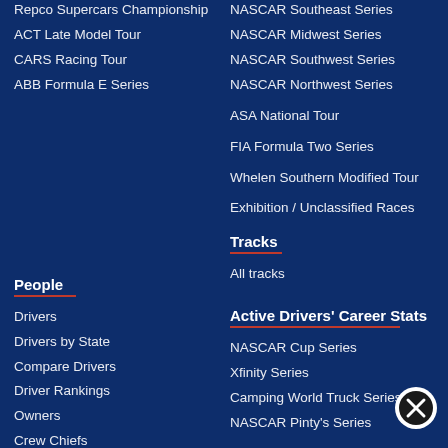Repco Supercars Championship
ACT Late Model Tour
CARS Racing Tour
ABB Formula E Series
NASCAR Southeast Series
NASCAR Midwest Series
NASCAR Southwest Series
NASCAR Northwest Series
ASA National Tour
FIA Formula Two Series
Whelen Southern Modified Tour
Exhibition / Unclassified Races
People
Drivers
Drivers by State
Compare Drivers
Driver Rankings
Owners
Crew Chiefs
Tracks
All tracks
Active Drivers’ Career Stats
NASCAR Cup Series
Xfinity Series
Camping World Truck Series
NASCAR Pinty’s Series